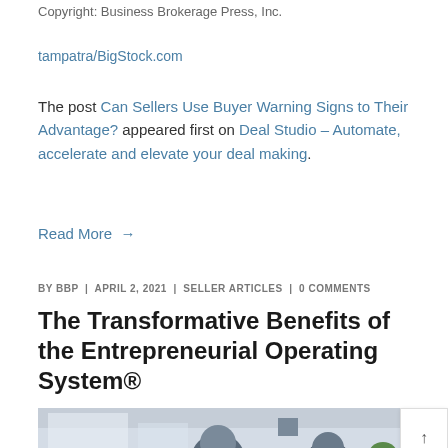Copyright: Business Brokerage Press, Inc.
tampatra/BigStock.com
The post Can Sellers Use Buyer Warning Signs to Their Advantage? appeared first on Deal Studio – Automate, accelerate and elevate your deal making.
Read More →
BY BBP | APRIL 2, 2021 | SELLER ARTICLES | 0 COMMENTS
The Transformative Benefits of the Entrepreneurial Operating System®
[Figure (photo): Photo of people in an office or meeting setting, partially visible at the bottom of the page.]